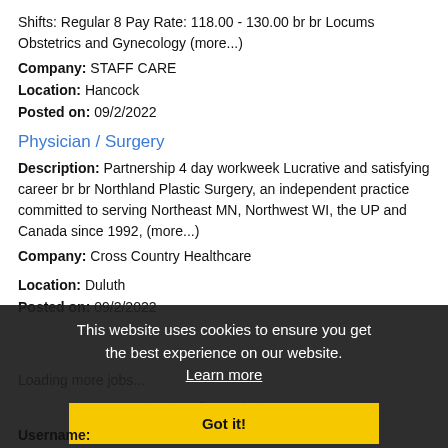Shifts: Regular 8 Pay Rate: 118.00 - 130.00 br br Locums Obstetrics and Gynecology (more...)
Company: STAFF CARE
Location: Hancock
Posted on: 09/2/2022
Physician / Surgery
Description: Partnership 4 day workweek Lucrative and satisfying career br br Northland Plastic Surgery, an independent practice committed to serving Northeast MN, Northwest WI, the UP and Canada since 1992, (more...)
Company: Cross Country Healthcare
Location: Duluth
Posted on: 09/2/2022
This website uses cookies to ensure you get the best experience on our website. Learn more
Loading more jobs...
Log In or Create An Account
Got it!
Username: